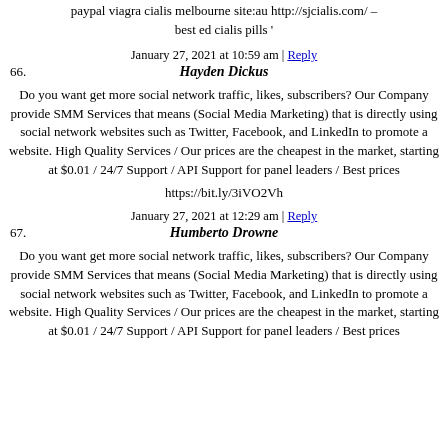paypal viagra cialis melbourne site:au http://sjcialis.com/ – best ed cialis pills '
January 27, 2021 at 10:59 am | Reply
66. Hayden Dickus
Do you want get more social network traffic, likes, subscribers? Our Company provide SMM Services that means (Social Media Marketing) that is directly using social network websites such as Twitter, Facebook, and LinkedIn to promote a website. High Quality Services / Our prices are the cheapest in the market, starting at $0.01 / 24/7 Support / API Support for panel leaders / Best prices
https://bit.ly/3iVO2Vh
January 27, 2021 at 12:29 am | Reply
67. Humberto Drowne
Do you want get more social network traffic, likes, subscribers? Our Company provide SMM Services that means (Social Media Marketing) that is directly using social network websites such as Twitter, Facebook, and LinkedIn to promote a website. High Quality Services / Our prices are the cheapest in the market, starting at $0.01 / 24/7 Support / API Support for panel leaders / Best prices